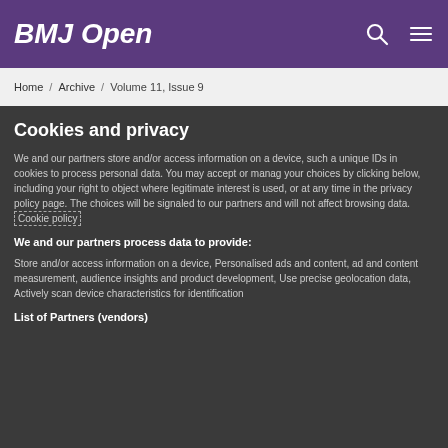BMJ Open
Home / Archive / Volume 11, Issue 9
Cookies and privacy
We and our partners store and/or access information on a device, such as unique IDs in cookies to process personal data. You may accept or manage your choices by clicking below, including your right to object where legitimate interest is used, or at any time in the privacy policy page. These choices will be signaled to our partners and will not affect browsing data. Cookie policy
We and our partners process data to provide:
Store and/or access information on a device, Personalised ads and content, ad and content measurement, audience insights and product development, Use precise geolocation data, Actively scan device characteristics for identification
List of Partners (vendors)